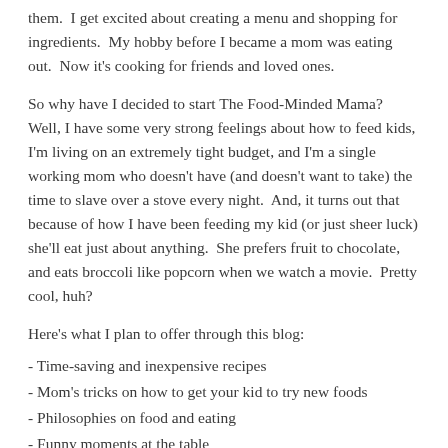them.  I get excited about creating a menu and shopping for ingredients.  My hobby before I became a mom was eating out.  Now it's cooking for friends and loved ones.
So why have I decided to start The Food-Minded Mama?  Well, I have some very strong feelings about how to feed kids, I'm living on an extremely tight budget, and I'm a single working mom who doesn't have (and doesn't want to take) the time to slave over a stove every night.  And, it turns out that because of how I have been feeding my kid (or just sheer luck) she'll eat just about anything.  She prefers fruit to chocolate, and eats broccoli like popcorn when we watch a movie.  Pretty cool, huh?
Here's what I plan to offer through this blog:
- Time-saving and inexpensive recipes
- Mom's tricks on how to get your kid to try new foods
- Philosophies on food and eating
- Funny moments at the table
- Kitchen foibles
- Guilty pleasures